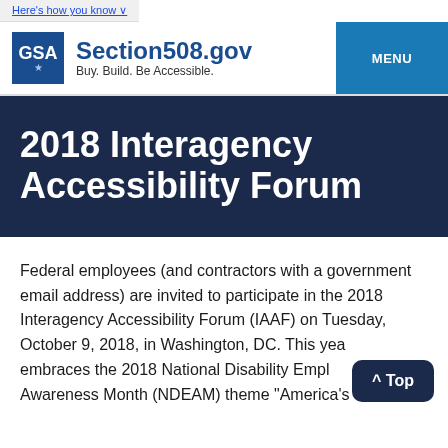Here's how you know
[Figure (logo): GSA logo and Section508.gov site header with tagline 'Buy. Build. Be Accessible.' and MENU button]
2018 Interagency Accessibility Forum
Federal employees (and contractors with a government email address) are invited to participate in the 2018 Interagency Accessibility Forum (IAAF) on Tuesday, October 9, 2018, in Washington, DC. This year's IAAF embraces the 2018 National Disability Employment Awareness Month (NDEAM) theme "America's